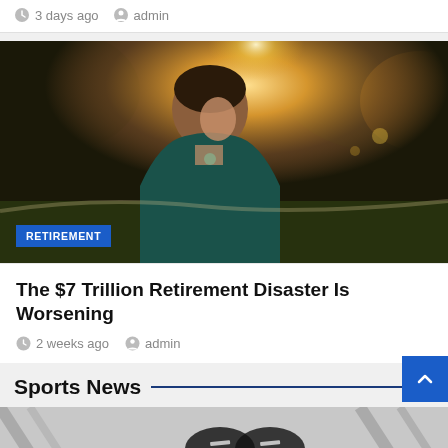3 days ago  admin
[Figure (photo): Man in dark teal shirt leaning forward outdoors with sunlight behind him, trees in background, RETIREMENT badge overlaid at bottom left]
The $7 Trillion Retirement Disaster Is Worsening
2 weeks ago  admin
Sports News
[Figure (photo): Partial sports image strip at bottom of page, showing sports equipment silhouettes]